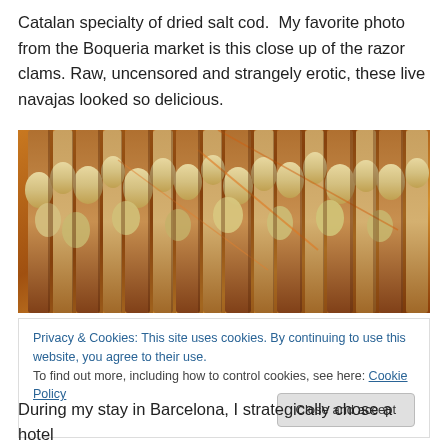Catalan specialty of dried salt cod.  My favorite photo from the Boqueria market is this close up of the razor clams. Raw, uncensored and strangely erotic, these live navajas looked so delicious.
[Figure (photo): Close-up photograph of live razor clams (navajas) at the Boqueria market, showing the elongated brown shells with cream-colored clam bodies clustered tightly together.]
Privacy & Cookies: This site uses cookies. By continuing to use this website, you agree to their use.
To find out more, including how to control cookies, see here: Cookie Policy
[Close and accept button]
During my stay in Barcelona, I strategically chose a hotel